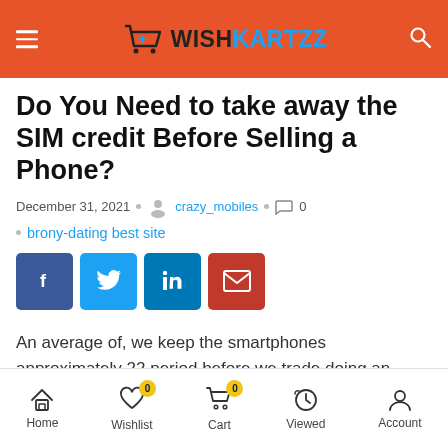WISHKARTZZ
Do You Need to take away the SIM credit Before Selling a Phone?
December 31, 2021 · crazy_mobiles · 0
brony-dating best site
[Figure (other): Social sharing buttons: Facebook, Twitter, LinkedIn, Email]
An average of, we keep the smartphones approximately 22 period before we trade doing an innovative new product, scientists say. It means no doubt you've traded their product at least once.
Home · Wishlist 0 · Cart 0 · Viewed · Account